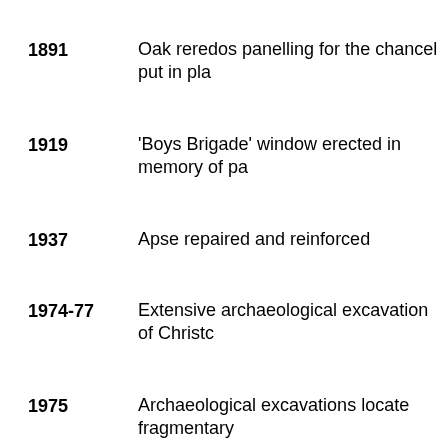1891 — Oak reredos panelling for the chancel put in place
1919 — 'Boys Brigade' window erected in memory of pa...
1937 — Apse repaired and reinforced
1974-77 — Extensive archaeological excavation of Christc...
1975 — Archaeological excavations locate fragmentary...